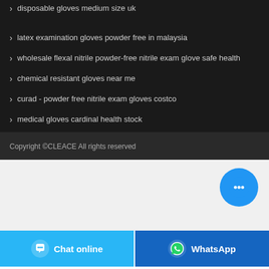disposable gloves medium size uk
latex examination gloves powder free in malaysia
wholesale flexal nitrile powder-free nitrile exam glove safe health
chemical resistant gloves near me
curad - powder free nitrile exam gloves costco
medical gloves cardinal health stock
Copyright ©CLEACE All rights reserved
[Figure (other): Chat button widget (floating blue circle with ellipsis chat icon) and two bottom action buttons: Chat online (light blue) and WhatsApp (dark blue)]